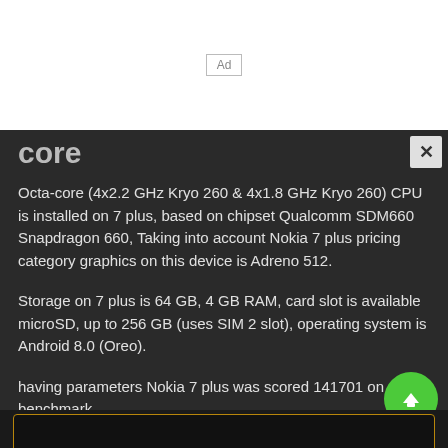[Figure (other): Ad placeholder banner at top of page]
core
Octa-core (4x2.2 GHz Kryo 260 & 4x1.8 GHz Kryo 260) CPU is installed on 7 plus, based on chipset Qualcomm SDM660 Snapdragon 660, Taking into account Nokia 7 plus pricing category graphics on this device is Adreno 512.
Storage on 7 plus is 64 GB, 4 GB RAM, card slot is available microSD, up to 256 GB (uses SIM 2 slot), operating system is Android 8.0 (Oreo).
having parameters Nokia 7 plus was scored 141701 on antutu benchmark.